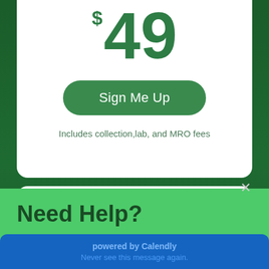$49
Sign Me Up
Includes collection,lab, and MRO fees
Need Help?
Call Us Today!
powered by Calendly
Never see this message again.